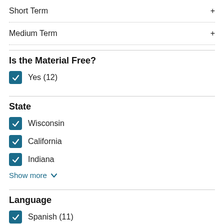Short Term +
Medium Term +
Is the Material Free?
Yes (12)
State
Wisconsin
California
Indiana
Show more
Language
Spanish (11)